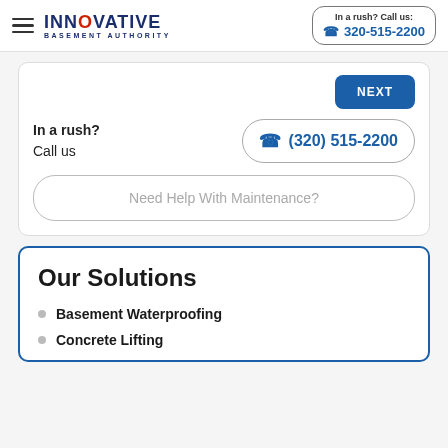[Figure (logo): Innovative Basement Authority logo with hamburger menu icon]
In a rush? Call us: 320-515-2200
NEXT
In a rush?
Call us
(320) 515-2200
Need Help With Maintenance?
Our Solutions
Basement Waterproofing
Concrete Lifting